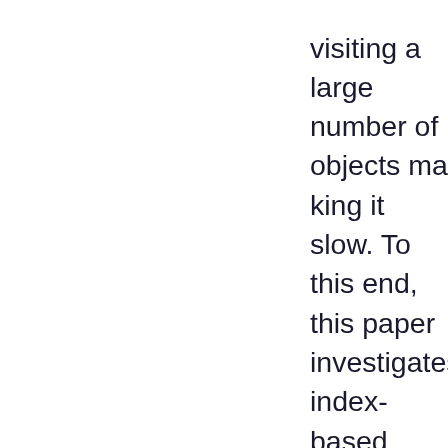visiting a large number of objects makes it slow. To this end, this paper investigates index-based solutions for DPC. Specifically, we propose two list-based index methods viz. (i) a simple Index and (ii) an advanced Cumulative Histogram Index. Efficient query algorithms are proposed for these indices, which significantly avoids irrelevant comparisons at the cost of space. To remedy this for memory-constrained systems, we further introduce an approximate solution to the above index, which allows substantial reduction in space cost provided slight inaccuracies are admissible. Furthermore, owing to considerably lower memory requirements